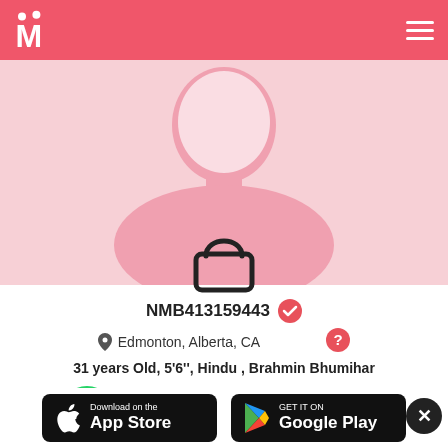M (matrimony logo) — navigation header
[Figure (illustration): Pink background with white female silhouette profile photo placeholder and a lock icon overlay at the bottom center]
NMB413159443 ✓ (verified badge)
Edmonton, Alberta, CA ? (question mark icon)
31 years Old, 5'6'', Hindu , Brahmin Bhumihar
[Figure (logo): WhatsApp green phone icon button]
Register
[Figure (logo): Download on the App Store button (black rounded rectangle with Apple logo)]
[Figure (logo): GET IT ON Google Play button (black rounded rectangle with Google Play triangle logo)]
[Figure (other): Black circle close/dismiss button with X]